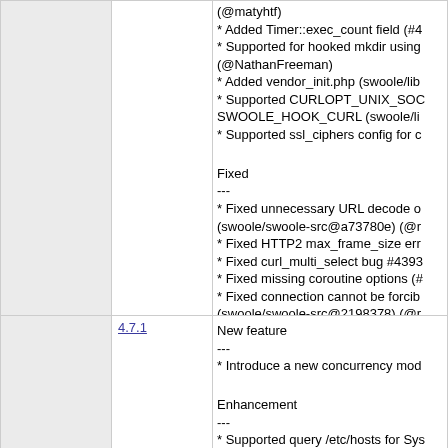|  | Version | Changes |
| --- | --- | --- |
|  |  | (@matyhtf)
* Added Timer::exec_count field (#4
* Supported for hooked mkdir using
(@NathanFreeman)
* Added vendor_init.php (swoole/lib
* Supported CURLOPT_UNIX_SOC
SWOOLE_HOOK_CURL (swoole/li
* Supported ssl_ciphers config for c

Fixed
---
* Fixed unnecessary URL decode o
(swoole/swoole-src@a73780e) (@r
* Fixed HTTP2 max_frame_size err
* Fixed curl_multi_select bug #4393
* Fixed missing coroutine options (#
* Fixed connection cannot be forcib
(swoole/swoole-src@2198378) (@r |
|  | 4.7.1 | New feature
---
* Introduce a new concurrency mod

Enhancement
---
* Supported query /etc/hosts for Sys
(@zmyWL) (@NathanFreeman)
* Supported boost context support f
* Supported CURLOPT_RESOLVE |